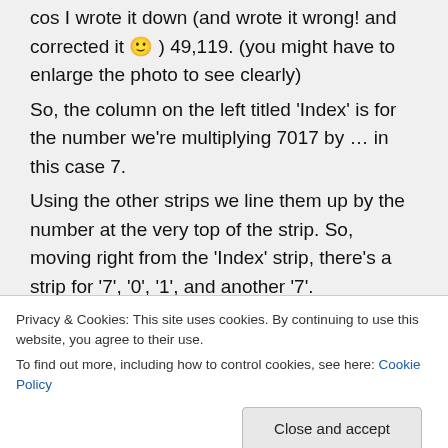cos I wrote it down (and wrote it wrong! and corrected it 🙂 ) 49,119. (you might have to enlarge the photo to see clearly)
So, the column on the left titled 'Index' is for the number we're multiplying 7017 by … in this case 7.
Using the other strips we line them up by the number at the very top of the strip. So, moving right from the 'Index' strip, there's a strip for '7', '0', '1', and another '7'.
With me so far?
Privacy & Cookies: This site uses cookies. By continuing to use this website, you agree to their use.
To find out more, including how to control cookies, see here: Cookie Policy